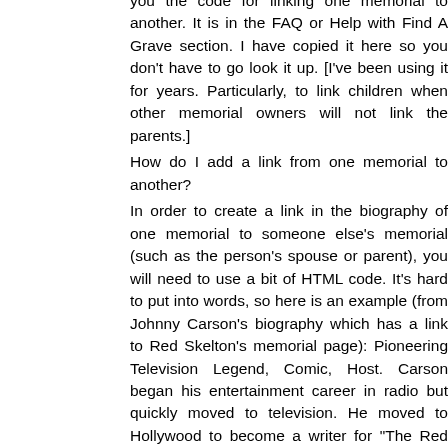you the code for linking one memorial to another. It is in the FAQ or Help with Find A Grave section. I have copied it here so you don't have to go look it up. [I've been using it for years. Particularly, to link children when other memorial owners will not link the parents.]
How do I add a link from one memorial to another?
In order to create a link in the biography of one memorial to someone else's memorial (such as the person's spouse or parent), you will need to use a bit of HTML code. It's hard to put into words, so here is an example (from Johnny Carson's biography which has a link to Red Skelton's memorial page): Pioneering Television Legend, Comic, Host. Carson began his entertainment career in radio but quickly moved to television. He moved to Hollywood to become a writer for "The Red Skelton Show."
In the biography, you would need to type
< a href="http://www.findagrave.com/cgi-bin/fg.cgi?page=gr&GRid=XXXXXXX">Name< /a>
where XXXXXXX is the GRid number of the memorial you want to link. The GRid is a unique id for each memorial and as such is the only thing within the entire URL that must be